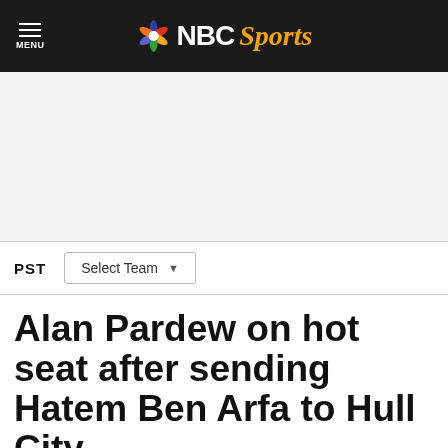MENU | NBC Sports
[Figure (logo): NBC Sports logo with peacock icon, NBC in white bold text and Sports in gold italic text on black background]
PST  Select Team
Alan Pardew on hot seat after sending Hatem Ben Arfa to Hull City
By Mike Prindiville  Sep 3, 2014, 4:50 PM EDT